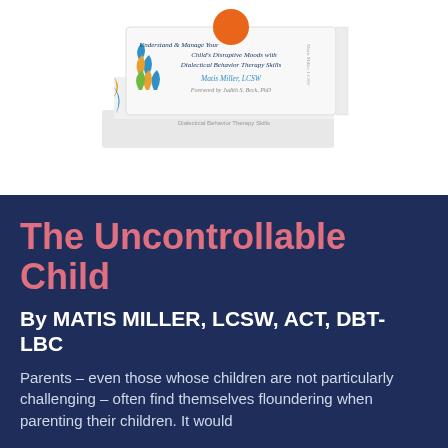[Figure (photo): Stack of books — 'The Uncontrollable Child' by Matis Miller, LCSW. Book cover shows colorful teardrop shapes on a white background with subtitle 'Understand & Manage Your Child's Disruptive Moods with Dialectical Behavior Therapy Skills' and foreword by Judith S. Beck, PhD.]
The Uncontrollable Child
By MATIS MILLER, LCSW, ACT, DBT-LBC
Parents – even those whose children are not particularly challenging – often find themselves floundering when parenting their children. It would